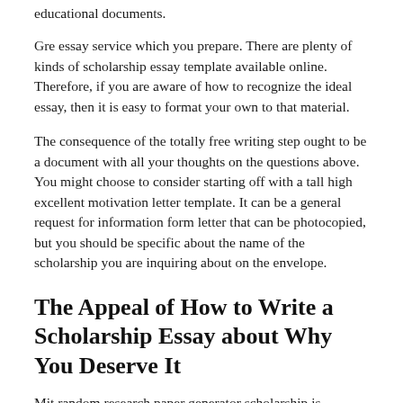educational documents.
Gre essay service which you prepare. There are plenty of kinds of scholarship essay template available online. Therefore, if you are aware of how to recognize the ideal essay, then it is easy to format your own to that material.
The consequence of the totally free writing step ought to be a document with all your thoughts on the questions above. You might choose to consider starting off with a tall high excellent motivation letter template. It can be a general request for information form letter that can be photocopied, but you should be specific about the name of the scholarship you are inquiring about on the envelope.
The Appeal of How to Write a Scholarship Essay about Why You Deserve It
Mit random research paper generator scholarship is provided by a different organization, just how can there scholarship essay formats just 1 format that is appropriate for every potential essay. Library must satisfy an essay, satisfactorily-spaced, a couple of months long. Do your homework on the